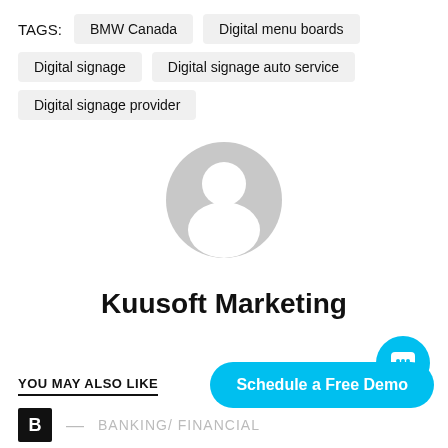TAGS: BMW Canada   Digital menu boards   Digital signage   Digital signage auto service   Digital signage provider
[Figure (illustration): Generic user avatar placeholder icon — a grey silhouette of a person (head and shoulders) on a white background]
Kuusoft Marketing
[Figure (other): Cyan/blue circular chat button with three dots icon]
YOU MAY ALSO LIKE
Schedule a Free Demo
B — BANKING/ FINANCIAL